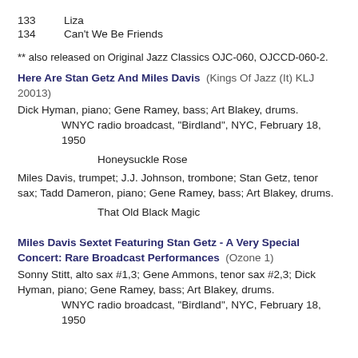133	Liza
134	Can't We Be Friends
** also released on Original Jazz Classics OJC-060, OJCCD-060-2.
Here Are Stan Getz And Miles Davis  (Kings Of Jazz (It) KLJ 20013)
Dick Hyman, piano; Gene Ramey, bass; Art Blakey, drums.
WNYC radio broadcast, "Birdland", NYC, February 18, 1950
Honeysuckle Rose
Miles Davis, trumpet; J.J. Johnson, trombone; Stan Getz, tenor sax; Tadd Dameron, piano; Gene Ramey, bass; Art Blakey, drums.
That Old Black Magic
Miles Davis Sextet Featuring Stan Getz - A Very Special Concert: Rare Broadcast Performances  (Ozone 1)
Sonny Stitt, alto sax #1,3; Gene Ammons, tenor sax #2,3; Dick Hyman, piano; Gene Ramey, bass; Art Blakey, drums.
WNYC radio broadcast, "Birdland", NYC, February 18, 1950